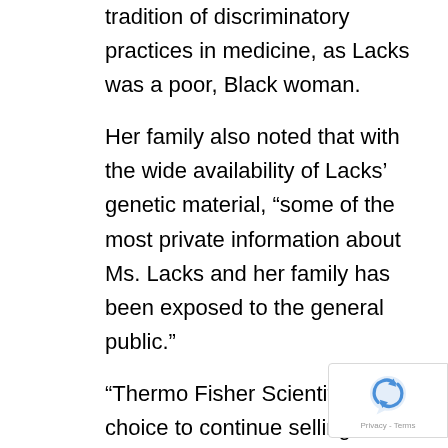tradition of discriminatory practices in medicine, as Lacks was a poor, Black woman.
Her family also noted that with the wide availability of Lacks' genetic material, “some of the most private information about Ms. Lacks and her family has been exposed to the general public.”
“Thermo Fisher Scientific’s choice to continue selling HeLa cells in spite of the cell lines’ origin and the concrete harms it inflicts on the Lacks family